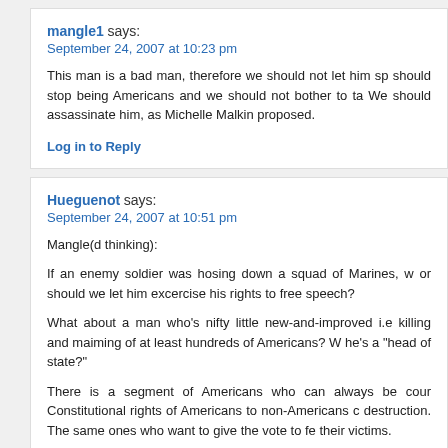mangle1 says:
September 24, 2007 at 10:23 pm

This man is a bad man, therefore we should not let him sp... should stop being Americans and we should not bother to ta... We should assassinate him, as Michelle Malkin proposed.

Log in to Reply
Hueguenot says:
September 24, 2007 at 10:51 pm

Mangle(d thinking):

If an enemy soldier was hosing down a squad of Marines, w... or should we let him excercise his rights to free speech?

What about a man who's nifty little new-and-improved i.e... killing and maiming of at least hundreds of Americans? W... he's a "head of state?"

There is a segment of Americans who can always be cour... Constitutional rights of Americans to non-Americans c... destruction. The same ones who want to give the vote to fe... their victims.

I admire you for wanting to take the high road and talk... grownups, much as one might in an Ivy League classroom... route in a New York Minute and urinate on his corpse.